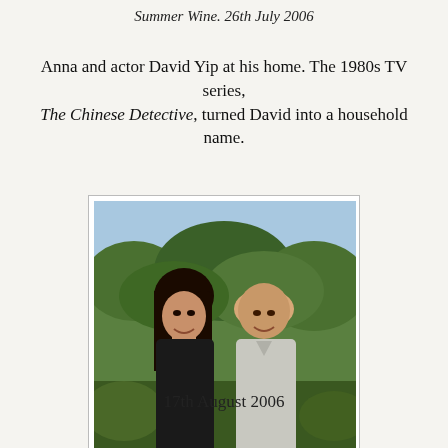Summer Wine. 26th July 2006
Anna and actor David Yip at his home. The 1980s TV series, The Chinese Detective, turned David into a household name.
[Figure (photo): Two people smiling outdoors in a garden setting. A woman with long dark hair wearing a black top stands on the left, and a man with a bald head wearing a light grey shirt stands on the right. Green foliage visible in the background.]
17th August 2006